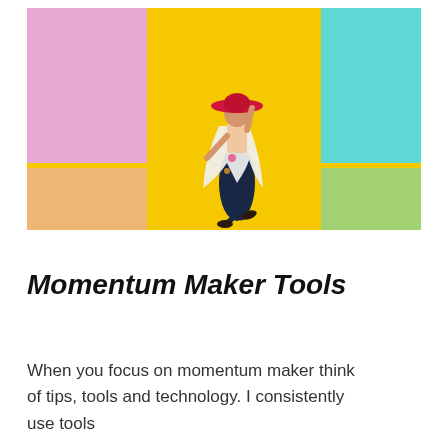[Figure (photo): A woman wearing a red wide-brim hat, a white floral kimono/cover-up, and a dark navy jumpsuit poses energetically against a colorful background divided into pink, yellow, and teal sections. She appears to be mid-movement with one leg lifted, set on a yellow floor.]
Momentum Maker Tools
When you focus on momentum maker think of tips, tools and technology. I consistently use tools